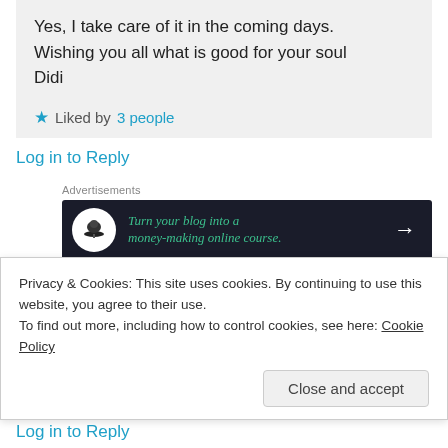Yes, I take care of it in the coming days.
Wishing you all what is good for your soul
Didi
Liked by 3 people
Log in to Reply
Advertisements
[Figure (other): Advertisement banner: dark navy background with a white circle logo (tree/bonsai icon), green italic text 'Turn your blog into a money-making online course.' and a white right arrow.]
REPORT THIS AD
MissTalkaholic on 11/07/2017 at 11:49
Privacy & Cookies: This site uses cookies. By continuing to use this website, you agree to their use.
To find out more, including how to control cookies, see here: Cookie Policy
Close and accept
Log in to Reply